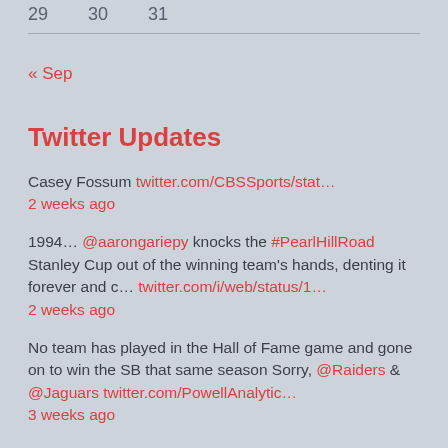| 29 | 30 | 31 |
« Sep
Twitter Updates
Casey Fossum twitter.com/CBSSports/stat... 2 weeks ago
1994... @aarongariepy knocks the #PearlHillRoad Stanley Cup out of the winning team's hands, denting it forever and c... twitter.com/i/web/status/1... 2 weeks ago
No team has played in the Hall of Fame game and gone on to win the SB that same season Sorry, @Raiders & @Jaguars twitter.com/PowellAnalytic... 3 weeks ago